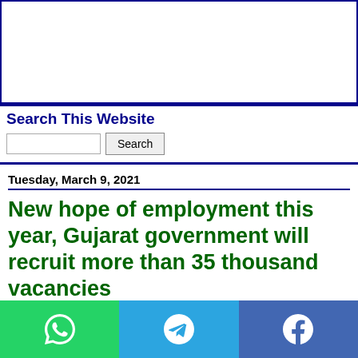[Figure (other): Advertisement/banner area (blank white space with dark blue border)]
Search This Website
Search (input field and button)
Tuesday, March 9, 2021
New hope of employment this year, Gujarat government will recruit more than 35 thousand vacancies
[Figure (infographic): Social share bar with WhatsApp (green), Telegram (blue), and Facebook (dark blue) buttons with icons]